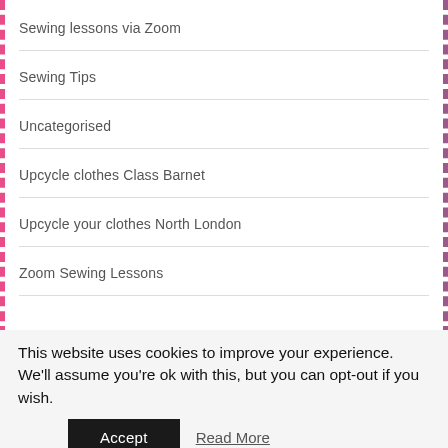Sewing lessons via Zoom
Sewing Tips
Uncategorised
Upcycle clothes Class Barnet
Upcycle your clothes North London
Zoom Sewing Lessons
This website uses cookies to improve your experience. We'll assume you're ok with this, but you can opt-out if you wish.
Accept  Read More